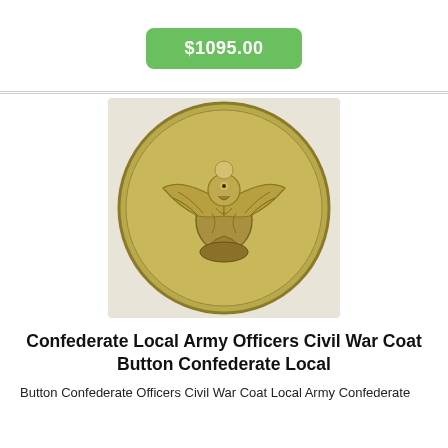$1095.00
[Figure (photo): A round brass Civil War era Confederate coat button featuring an eagle design with spread wings, viewed from the front (obverse side).]
Confederate Local Army Officers Civil War Coat Button Confederate Local
Button Confederate Officers Civil War Coat Local Army Confederate